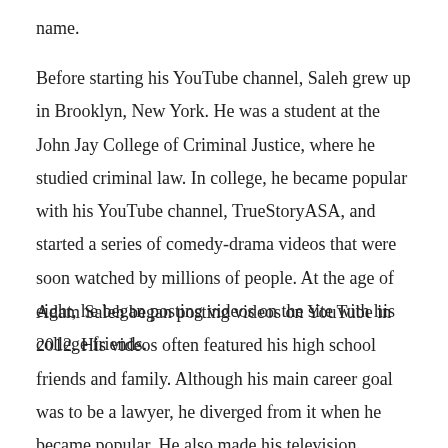name.
Before starting his YouTube channel, Saleh grew up in Brooklyn, New York. He was a student at the John Jay College of Criminal Justice, where he studied criminal law. In college, he became popular with his YouTube channel, TrueStoryASA, and started a series of comedy-drama videos that were soon watched by millions of people. At the age of eight, he began posting videos on the site with his college friends.
Adam Saleh began posting videos on YouTube in 2012. His videos often featured his high school friends and family. Although his main career goal was to be a lawyer, he diverged from it when he became popular. He also made his television